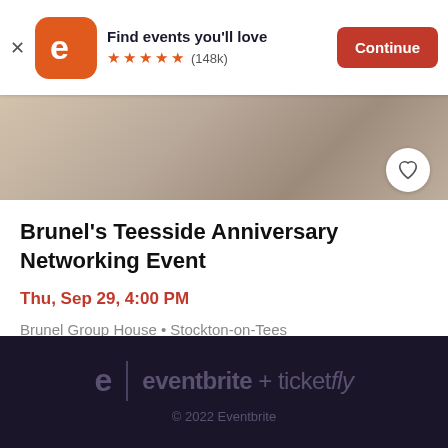[Figure (screenshot): Eventbrite app banner with orange rounded-square logo, 'Find events you'll love' text, 5 orange stars, (148k) reviews, and a red Continue button]
[Figure (photo): Blurred hero image showing food/catering items on a table]
Brunel's Teesside Anniversary Networking Event
Thu, Sep 29, 4:00 PM
Brunel Group House • Stockton-on-Tees
Free
eventbrite + ticketfly
© 2022 Eventbrite